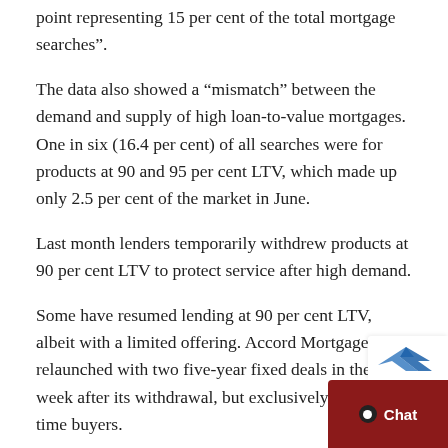point representing 15 per cent of the total mortgage searches”.
The data also showed a “mismatch” between the demand and supply of high loan-to-value mortgages. One in six (16.4 per cent) of all searches were for products at 90 and 95 per cent LTV, which made up only 2.5 per cent of the market in June.
Last month lenders temporarily withdrew products at 90 per cent LTV to protect service after high demand.
Some have resumed lending at 90 per cent LTV, albeit with a limited offering. Accord Mortgages relaunched with two five-year fixed deals in the week after its withdrawal, but exclusively to first-time buyers.
Commenting on the difference between demand and supply of high LTV mortgages, Mr Bailey said: “That’s going to prove